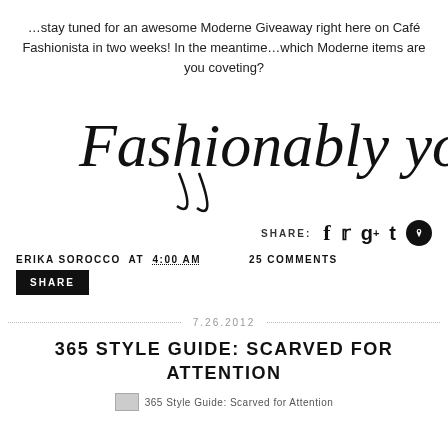…stay tuned for an awesome Moderne Giveaway right here on Café Fashionista in two weeks! In the meantime…which Moderne items are you coveting?
[Figure (illustration): Handwritten cursive signature text reading 'Fashionably yours!']
SHARE: [Facebook] [Twitter] [Google+] [Tumblr] [Pinterest]
ERIKA SOROCCO AT 4:00 AM   25 COMMENTS
SHARE
7.26.2012
365 STYLE GUIDE: SCARVED FOR ATTENTION
[Figure (photo): Thumbnail image for '365 Style Guide: Scarved for Attention']